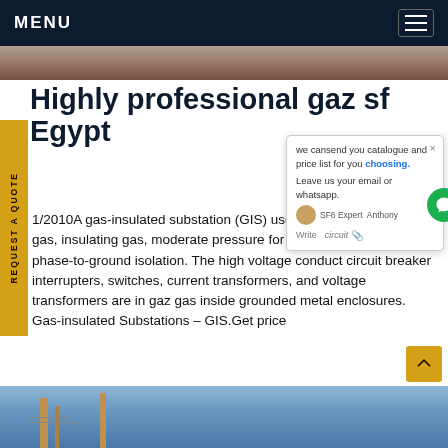MENU
[Figure (photo): Partial hero image strip at the top of the page showing an outdoor scene]
Highly professional gaz sf Egypt
1/2010A gas-insulated substation (GIS) uses a superior dielectric gas, insulating gas, moderate pressure for phase-tophase and phase-to-ground isolation. The high voltage conduct circuit breaker interrupters, switches, current transformers, and voltage transformers are in gaz gas inside grounded metal enclosures. Gas-insulated Substations – GIS.Get price
[Figure (screenshot): Chat popup overlay showing message: we cansend you catalogue and price list for you choosing. Leave us your email or whatsapp. SF6 Expert Anthony. Write circuit. Green chat icon with badge 1.]
[Figure (photo): Bottom image showing electrical substation equipment and transmission towers against sky]